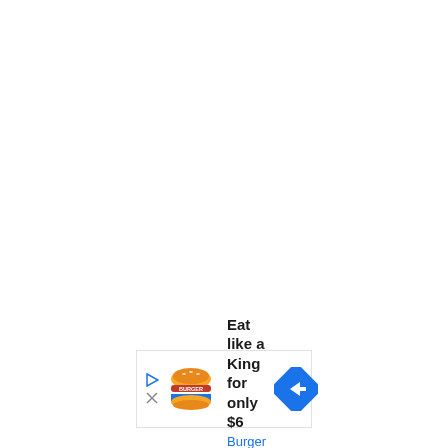[Figure (infographic): Burger King advertisement banner. Shows Burger King logo on left, text 'Eat like a King for only $6' and 'Burger King' in blue, with a blue diamond navigation arrow icon on the right. Has play and close (X) icons on far left.]